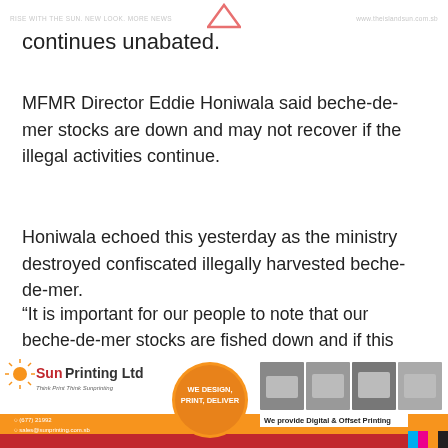RISE WITH THE SUN. NEW LOOK. MORE NEWS   www.theislandsun.com.sb
continues unabated.
MFMR Director Eddie Honiwala said beche-de-mer stocks are down and may not recover if the illegal activities continue.
Honiwala echoed this yesterday as the ministry destroyed confiscated illegally harvested beche-de-mer.
“It is important for our people to note that our beche-de-mer stocks are fished down and if this continues, this fishery will collapse soon. We don’t want to drive this important fishery down that path,” he said.
[Figure (illustration): Sun Printing Ltd advertisement banner with logo, we design print deliver badge, printing equipment photos, and tagline: We provide Digital & Offset Printing]